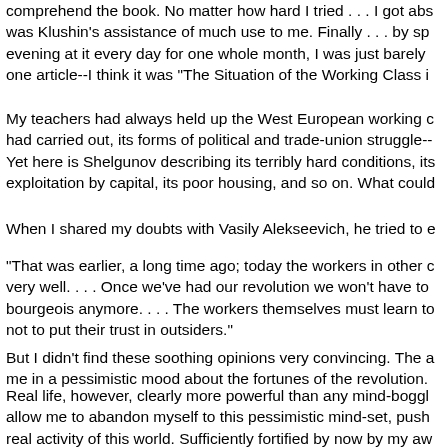comprehend the book. No matter how hard I tried . . . I got abs was Klushin's assistance of much use to me. Finally . . . by sp evening at it every day for one whole month, I was just barely one article--I think it was "The Situation of the Working Class i
My teachers had always held up the West European working c had carried out, its forms of political and trade-union struggle-- Yet here is Shelgunov describing its terribly hard conditions, its exploitation by capital, its poor housing, and so on. What could
When I shared my doubts with Vasily Alekseevich, he tried to e
"That was earlier, a long time ago; today the workers in other c very well. . . . Once we've had our revolution we won't have to bourgeois anymore. . . . The workers themselves must learn to not to put their trust in outsiders."
But I didn't find these soothing opinions very convincing. The a me in a pessimistic mood about the fortunes of the revolution.
Real life, however, clearly more powerful than any mind-boggl allow me to abandon myself to this pessimistic mind-set, push real activity of this world. Sufficiently fortified by now by my aw "conscious," I bravely entered into combat with "human injustie abused and oppressed, enlightened and persuaded the "unco passionately with my opponents, defending my ideals.